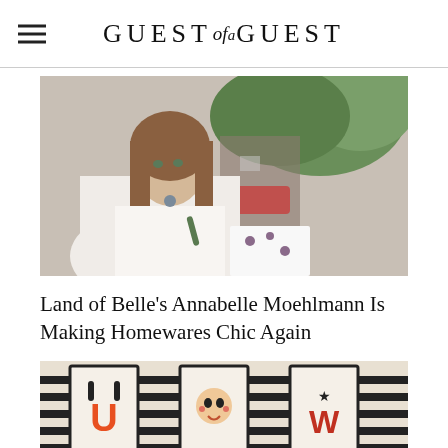GUEST of a GUEST
[Figure (photo): Young woman with long brown hair wearing a white top, seated outdoors with palm fronds and a city street in the background, holding a pen over papers.]
Land of Belle's Annabelle Moehlmann Is Making Homewares Chic Again
[Figure (photo): Close-up of decorative items arranged in a row with black and white striped pattern, featuring illustrated framed prints with letters and motifs.]